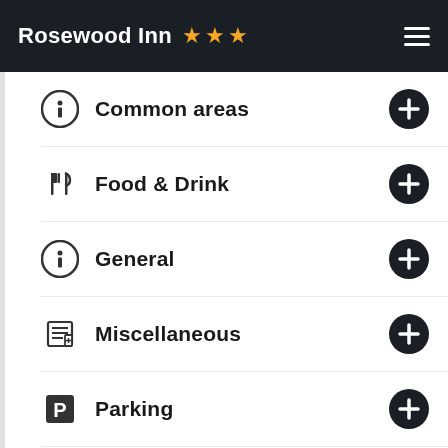Rosewood Inn ★★★
Common areas
Food & Drink
General
Miscellaneous
Parking
Pool and wellness
Reception services
Sports (partial, cut off)